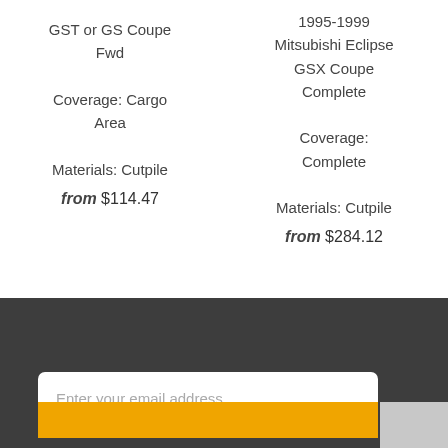GST or GS Coupe Fwd
Coverage: Cargo Area
Materials: Cutpile
from $114.47
1995-1999 Mitsubishi Eclipse GSX Coupe Complete
Coverage: Complete
Materials: Cutpile
from $284.12
Enter your email address...